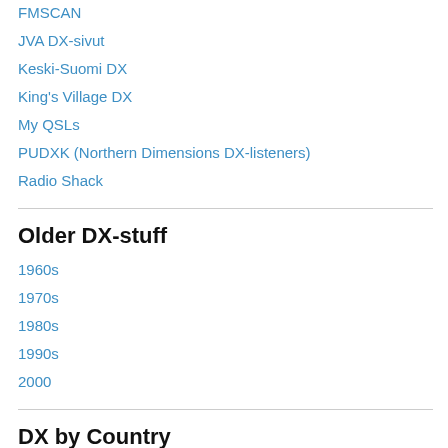FMSCAN
JVA DX-sivut
Keski-Suomi DX
King's Village DX
My QSLs
PUDXK (Northern Dimensions DX-listeners)
Radio Shack
Older DX-stuff
1960s
1970s
1980s
1990s
2000
DX by Country